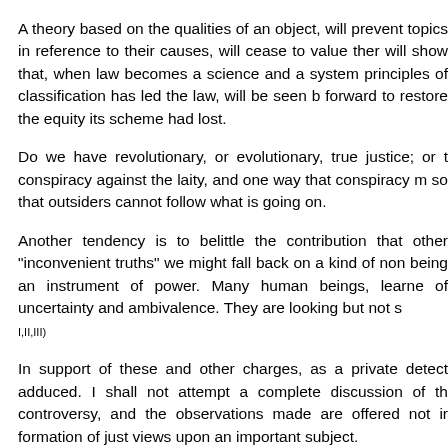A theory based on the qualities of an object, will prevent topics in reference to their causes, will cease to value them will show that, when law becomes a science and a system principles of classification has led the law, will be seen b forward to restore the equity its scheme had lost.
Do we have revolutionary, or evolutionary, true justice; or t conspiracy against the laity, and one way that conspiracy m so that outsiders cannot follow what is going on.
Another tendency is to belittle the contribution that other "inconvenient truths" we might fall back on a kind of non being an instrument of power. Many human beings, learne of uncertainty and ambivalence. They are looking but not s I,II,III)
In support of these and other charges, as a private detect adduced. I shall not attempt a complete discussion of th controversy, and the observations made are offered not ir formation of just views upon an important subject.
The expression of a truth cannot be negatived by a legitim